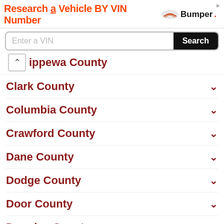[Figure (screenshot): Bumper VIN search advertisement banner with text 'Research a Vehicle BY VIN Number' and Bumper logo]
Chippewa County (partially visible, clipped at top)
Clark County
Columbia County
Crawford County
Dane County
Dodge County
Door County
Douglas County
Dunn County
Eau Claire County
Florence County